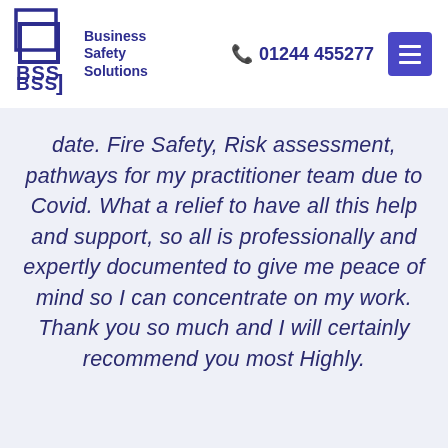[Figure (logo): Business Safety Solutions (BSS) logo with square bracket graphic and company name]
📞 01244 455277  ☰
date. Fire Safety, Risk assessment, pathways for my practitioner team due to Covid. What a relief to have all this help and support, so all is professionally and expertly documented to give me peace of mind so I can concentrate on my work. Thank you so much and I will certainly recommend you most Highly.